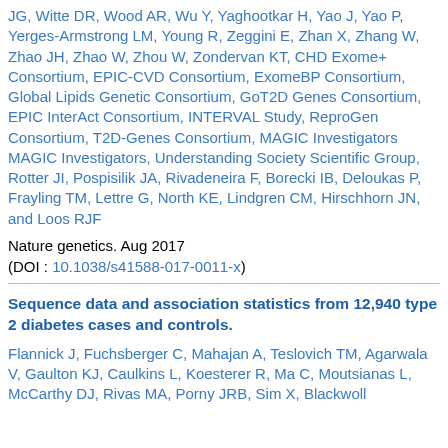JG, Witte DR, Wood AR, Wu Y, Yaghootkar H, Yao J, Yao P, Yerges-Armstrong LM, Young R, Zeggini E, Zhan X, Zhang W, Zhao JH, Zhao W, Zhou W, Zondervan KT, CHD Exome+ Consortium, EPIC-CVD Consortium, ExomeBP Consortium, Global Lipids Genetic Consortium, GoT2D Genes Consortium, EPIC InterAct Consortium, INTERVAL Study, ReproGen Consortium, T2D-Genes Consortium, MAGIC Investigators MAGIC Investigators, Understanding Society Scientific Group, Rotter JI, Pospisilik JA, Rivadeneira F, Borecki IB, Deloukas P, Frayling TM, Lettre G, North KE, Lindgren CM, Hirschhorn JN, and Loos RJF
Nature genetics. Aug 2017
(DOI : 10.1038/s41588-017-0011-x)
Sequence data and association statistics from 12,940 type 2 diabetes cases and controls.
Flannick J, Fuchsberger C, Mahajan A, Teslovich TM, Agarwala V, Gaulton KJ, Caulkins L, Koesterer R, Ma C, Moutsianas L, McCarthy DJ, Rivas MA, Porny JRB, Sim X, Blackwell...